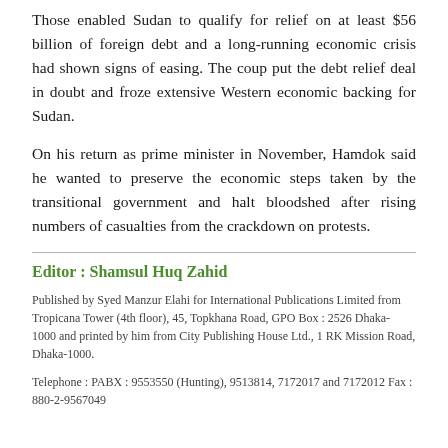Those enabled Sudan to qualify for relief on at least $56 billion of foreign debt and a long-running economic crisis had shown signs of easing. The coup put the debt relief deal in doubt and froze extensive Western economic backing for Sudan.
On his return as prime minister in November, Hamdok said he wanted to preserve the economic steps taken by the transitional government and halt bloodshed after rising numbers of casualties from the crackdown on protests.
Editor : Shamsul Huq Zahid
Published by Syed Manzur Elahi for International Publications Limited from Tropicana Tower (4th floor), 45, Topkhana Road, GPO Box : 2526 Dhaka- 1000 and printed by him from City Publishing House Ltd., 1 RK Mission Road, Dhaka-1000.
Telephone : PABX : 9553550 (Hunting), 9513814, 7172017 and 7172012 Fax : 880-2-9567049